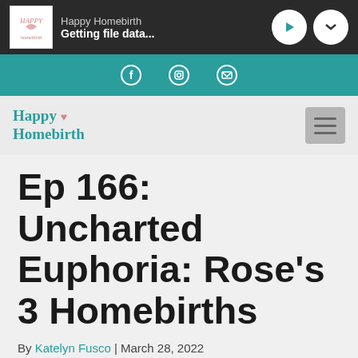Happy Homebirth — Getting file data...
[Figure (screenshot): Teal social bar with Facebook, Instagram, and email icons]
[Figure (logo): Happy Homebirth site logo in teal with heart, and hamburger menu icon]
Ep 166: Uncharted Euphoria: Rose's 3 Homebirths
By Katelyn Fusco | March 28, 2022
[Figure (screenshot): Audio player bar showing 00:00 timestamps]